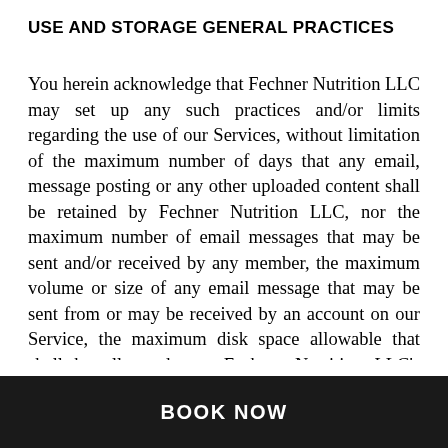USE AND STORAGE GENERAL PRACTICES
You herein acknowledge that Fechner Nutrition LLC may set up any such practices and/or limits regarding the use of our Services, without limitation of the maximum number of days that any email, message posting or any other uploaded content shall be retained by Fechner Nutrition LLC, nor the maximum number of email messages that may be sent and/or received by any member, the maximum volume or size of any email message that may be sent from or may be received by an account on our Service, the maximum disk space allowable that shall be allocated o n Fechner Nutrition LLC's servers on the member's behalf, and/or the maximum number of times and/or duration that any member may access our Services in a given period of time. In addition, you also agree that Fechner Nutrition LLC has the right to
BOOK NOW